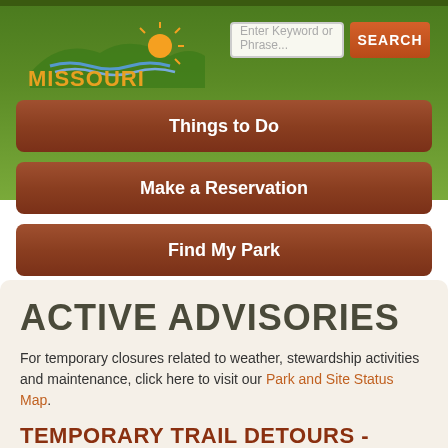[Figure (logo): Missouri State Parks logo with orange sun and blue river waves]
Enter Keyword or Phrase...
SEARCH
Things to Do
Make a Reservation
Find My Park
ACTIVE ADVISORIES
For temporary closures related to weather, stewardship activities and maintenance, click here to visit our Park and Site Status Map.
TEMPORARY TRAIL DETOURS - KATY TRAIL STATE PARK